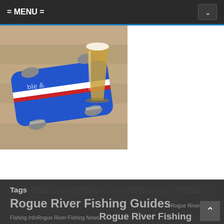= MENU =
[Figure (photo): Close-up photo of a blue skateboard deck with red and white stripe, a glass of orange beer/drink on it, on a wooden floor background.]
Tags
Rogue River Fishing Guides
Rogue River Fishing Info
Rogue River Fishing News
Rogue River Fishing Report
Rogue River Fishing Reports
Rogue River Fishing Updates
Rogue River Guide Services